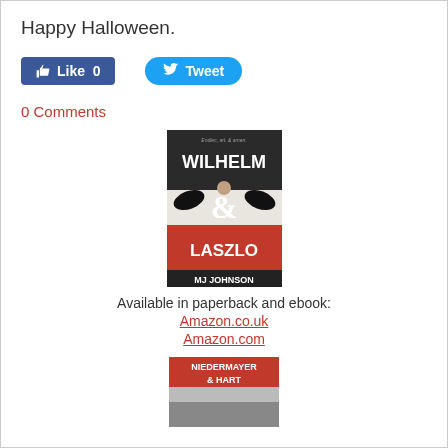Happy Halloween.
[Figure (screenshot): Facebook Like button showing '0' and Twitter Tweet button]
0 Comments
[Figure (illustration): Book cover for 'Wilhelm & Laszlo' by MJ Johnson featuring a gothic illustration with birds and a figure]
Available in paperback and ebook:
Amazon.co.uk
Amazon.com
[Figure (illustration): Book cover for 'Niedermayer & Hart' partially visible at bottom of page]